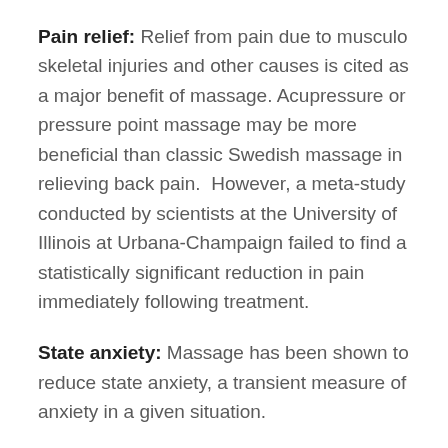Pain relief: Relief from pain due to musculo skeletal injuries and other causes is cited as a major benefit of massage. Acupressure or pressure point massage may be more beneficial than classic Swedish massage in relieving back pain.  However, a meta-study conducted by scientists at the University of Illinois at Urbana-Champaign failed to find a statistically significant reduction in pain immediately following treatment.
State anxiety: Massage has been shown to reduce state anxiety, a transient measure of anxiety in a given situation.
Blood pressure and heart rate: Massage has been shown to temporarily reduce blood pressure and heart rate.
Trait anxiety: Massage has been shown to reduce trait anxiety; a person's general susceptibility to